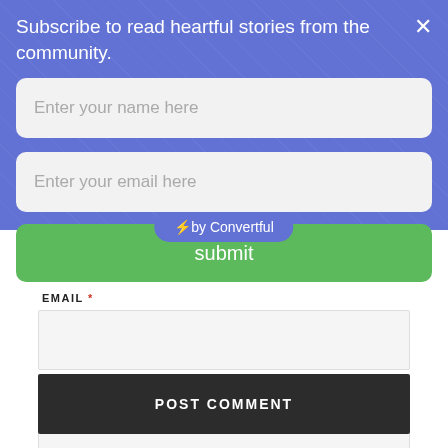Subscribe to read heartful stories from the community.
Enter your name here
Enter your email here
submit
[Figure (other): Convertful badge with lightning bolt icon and text 'by Convertful' on a blue pill-shaped button]
EMAIL *
WEBSITE
POST COMMENT